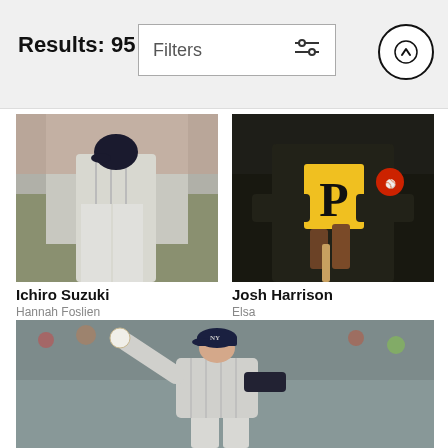Results: 95
Filters
[Figure (photo): Baseball player in New York Yankees uniform mid-swing]
Ichiro Suzuki
Hannah Foslien
$9.62
[Figure (photo): Baseball player in Pittsburgh Pirates black uniform holding a bat]
Josh Harrison
Elsa
$9.62
[Figure (photo): Baseball pitcher in New York Yankees uniform winding up to throw]